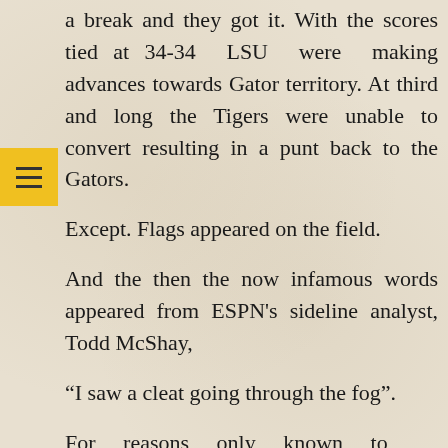a break and they got it. With the scores tied at 34-34 LSU were making advances towards Gator territory. At third and long the Tigers were unable to convert resulting in a punt back to the Gators.
Except. Flags appeared on the field.
And the then the now infamous words appeared from ESPN's sideline analyst, Todd McShay,
“I saw a cleat going through the fog”.
For reasons only known to